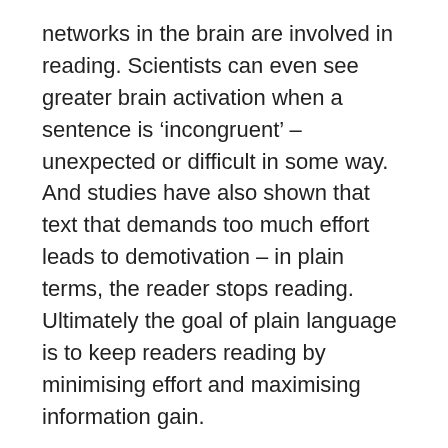networks in the brain are involved in reading. Scientists can even see greater brain activation when a sentence is 'incongruent' – unexpected or difficult in some way. And studies have also shown that text that demands too much effort leads to demotivation – in plain terms, the reader stops reading. Ultimately the goal of plain language is to keep readers reading by minimising effort and maximising information gain.
Sources:
'Neurobiology research findings: How the brain works during reading', Siusana Kweldju, The Southeast Asian Ministers of Education Organization (SEAMEO), PASAA 50, July - December 2015, https://files.eric.ed.gov/fulltext/EJ1088308.pdf